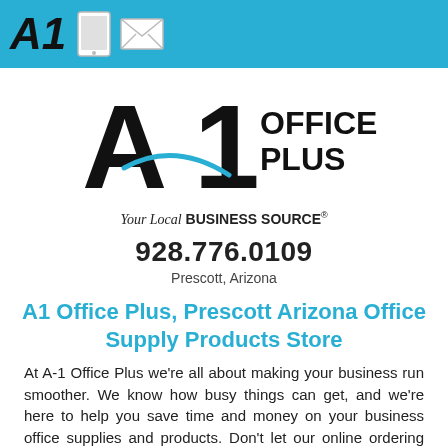A1 [tablet icon] [envelope icon]
[Figure (logo): A1 Office Plus logo — large stylized A1 letterform with blue swoosh accent, text 'OFFICE PLUS' to the right in bold, tagline 'Your Local BUSINESS SOURCE®' below]
928.776.0109
Prescott, Arizona
A1 Office Plus, Prescott Arizona Office Supply Products Store
At A-1 Office Plus we're all about making your business run smoother. We know how busy things can get, and we're here to help you save time and money on your business office supplies and products. Don't let our online ordering intimidate you.